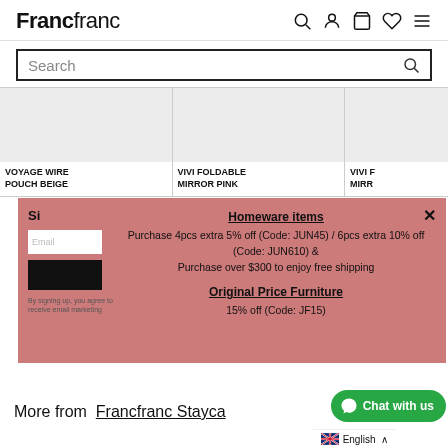Francfranc
Search
[Figure (screenshot): Product image placeholder - VOYAGE WIRE POUCH BEIGE]
VOYAGE WIRE POUCH BEIGE
[Figure (screenshot): Product image placeholder - VIVI FOLDABLE MIRROR PINK]
VIVI FOLDABLE MIRROR PINK
[Figure (screenshot): Product image placeholder - VIVI MIRROR (partially visible)]
VIVI MIRR
Homeware items
Purchase 4pcs extra 5% off (Code: JUN45) / 6pcs extra 10% off (Code: JUN610) & Purchase over $300 to enjoy free shipping

Original Price Furniture
15% off (Code: JF15)
By signing up, you agree to receive email marketing
More from  Francfranc Stayca…
English